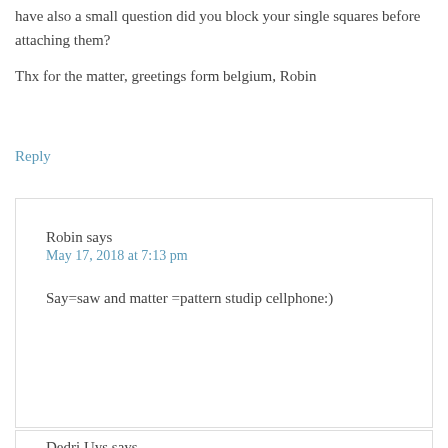have also a small question did you block your single squares before attaching them?
Thx for the matter, greetings form belgium, Robin
Reply
Robin says
May 17, 2018 at 7:13 pm
Say=saw and matter =pattern studip cellphone:)
Dedri Uys says